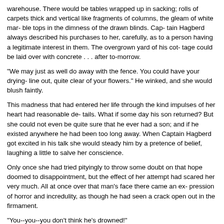warehouse. There would be tables wrapped up in sacking; rolls of carpets thick and vertical like fragments of columns, the gleam of white mar- ble tops in the dimness of the drawn blinds. Cap- tain Hagberd always described his purchases to her, carefully, as to a person having a legitimate interest in them. The overgrown yard of his cot- tage could be laid over with concrete . . . after to-morrow.
"We may just as well do away with the fence. You could have your drying- line out, quite clear of your flowers." He winked, and she would blush faintly.
This madness that had entered her life through the kind impulses of her heart had reasonable de- tails. What if some day his son returned? But she could not even be quite sure that he ever had a son; and if he existed anywhere he had been too long away. When Captain Hagberd got excited in his talk she would steady him by a pretence of belief, laughing a little to salve her conscience.
Only once she had tried pityingly to throw some doubt on that hope doomed to disappointment, but the effect of her attempt had scared her very much. All at once over that man's face there came an ex- pression of horror and incredulity, as though he had seen a crack open out in the firmament.
"You--you--you don't think he's drowned!"
For a moment he seemed to her ready to go out of his mind, for in his ordinary state she thought him more sane than people gave him credit for. On that occasion the violence of the emotion was followed by a most paternal and complacent re- covery.